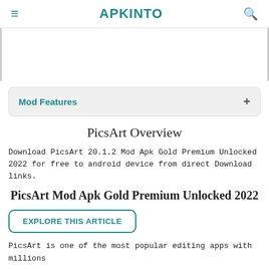APKINTO
[Figure (other): Advertisement banner area]
Mod Features +
PicsArt Overview
Download PicsArt 20.1.2 Mod Apk Gold Premium Unlocked 2022 for free to android device from direct Download links.
PicsArt Mod Apk Gold Premium Unlocked 2022
EXPLORE THIS ARTICLE
PicsArt is one of the most popular editing apps with millions